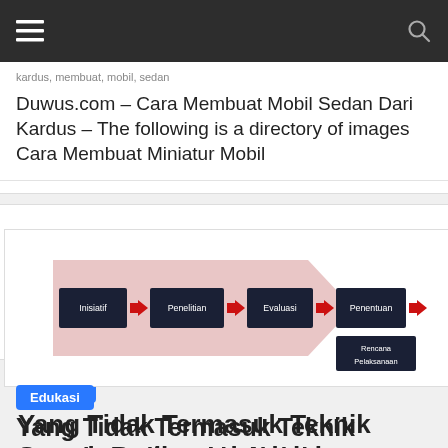Navigation bar with hamburger menu and search icon
kardus, membuat, mobil, sedan
Duwus.com – Cara Membuat Mobil Sedan Dari Kardus – The following is a directory of images Cara Membuat Miniatur Mobil
[Figure (flowchart): Process flowchart with steps: Inisiatif → Penelitian → Evaluasi → Penentuan → Rencana Pelaksanaan → Pelaksanaan, with a large pink arrow background pointing right]
Edukasi
Yang Tidak Termasuk Teknik Smash Berikut Ini Adalah